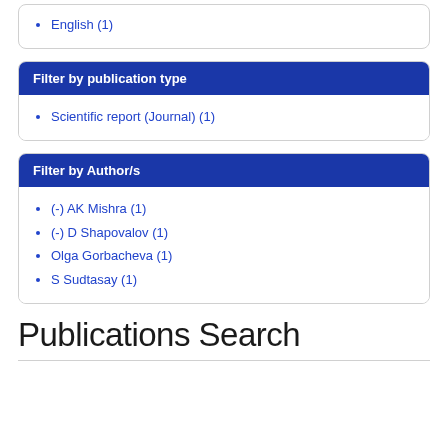English (1)
Filter by publication type
Scientific report (Journal) (1)
Filter by Author/s
(-) AK Mishra (1)
(-) D Shapovalov (1)
Olga Gorbacheva (1)
S Sudtasay (1)
Publications Search